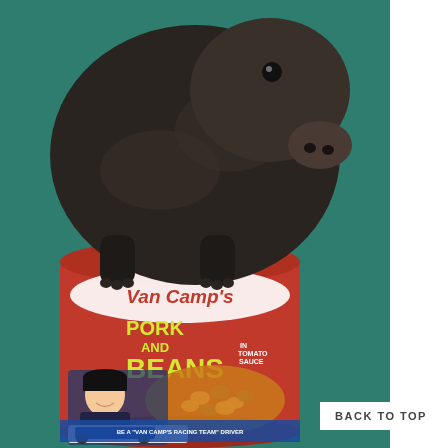[Figure (photo): A small dark baby pig sitting inside an open Van Camp's Pork and Beans can. The can has a red label with yellow text reading 'PORK AND BEANS in Tomato Sauce' and features a NASCAR driver's image. The background is a teal/green surface.]
BACK TO TOP